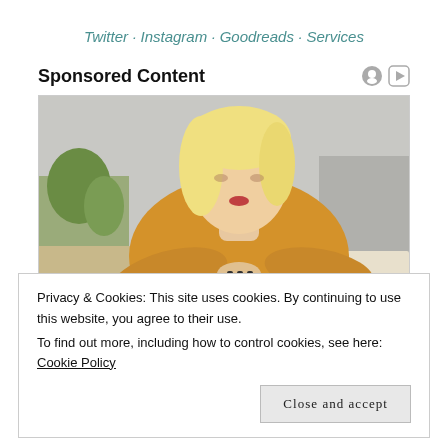Twitter · Instagram · Goodreads · Services
Sponsored Content
[Figure (photo): A blonde woman in a yellow knit sweater looking down, writing or reading, in an interior setting with plants and grey couch visible in background.]
Privacy & Cookies: This site uses cookies. By continuing to use this website, you agree to their use.
To find out more, including how to control cookies, see here: Cookie Policy
Close and accept